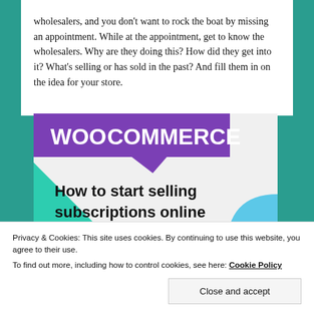After all, you're building relationships with these wholesalers, and you don't want to rock the boat by missing an appointment. While at the appointment, get to know the wholesalers. Why are they doing this? How did they get into it? What's selling or has sold in the past? And fill them in on the idea for your store.
[Figure (illustration): WooCommerce branded banner image with purple logo at top, teal and blue geometric shapes, and text 'How to start selling subscriptions online' on light gray background.]
Privacy & Cookies: This site uses cookies. By continuing to use this website, you agree to their use.
To find out more, including how to control cookies, see here: Cookie Policy